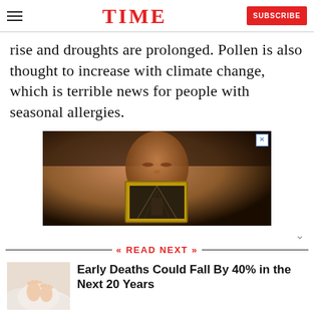TIME | SUBSCRIBE
rise and droughts are prolonged. Pollen is also thought to increase with climate change, which is terrible news for people with seasonal allergies.
[Figure (photo): Advertisement image: person with closed eyes holding a mirror, dark moody lighting]
READ NEXT
[Figure (photo): Thumbnail image of baby feet on white fluffy surface]
Early Deaths Could Fall By 40% in the Next 20 Years